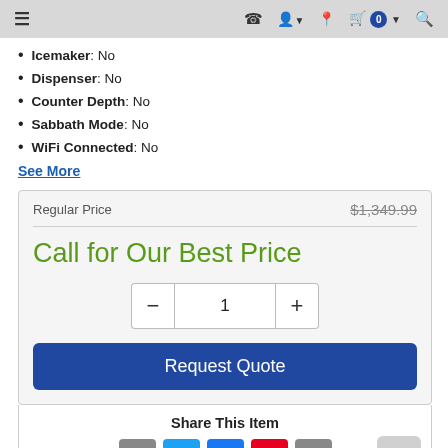Navigation bar with menu, phone, account, location, cart (0), search icons
Icemaker: No
Dispenser: No
Counter Depth: No
Sabbath Mode: No
WiFi Connected: No
See More
| Regular Price | $1,349.99 |
| --- | --- |
Call for Our Best Price
Share This Item